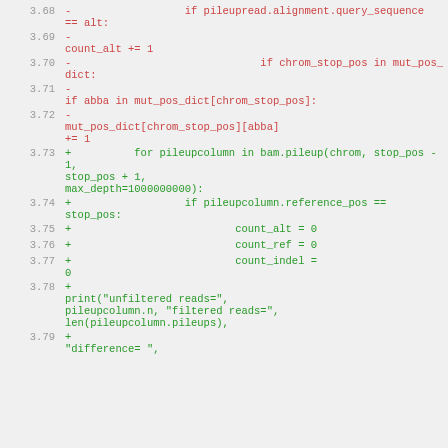3.68 -                  if pileupread.alignment.query_sequence == alt:
3.69 -
          count_alt += 1
3.70 -                              if chrom_stop_pos in mut_pos_dict:
3.71 -
          if abba in mut_pos_dict[chrom_stop_pos]:
3.72 -
          mut_pos_dict[chrom_stop_pos][abba] += 1
3.73 +          for pileupcolumn in bam.pileup(chrom, stop_pos - 1, stop_pos + 1, max_depth=1000000000):
3.74 +                  if pileupcolumn.reference_pos == stop_pos:
3.75 +                          count_alt = 0
3.76 +                          count_ref = 0
3.77 +                          count_indel = 0
3.78 +
          print("unfiltered reads=", pileupcolumn.n, "filtered reads=", len(pileupcolumn.pileups),
3.79 +
          "difference= ",